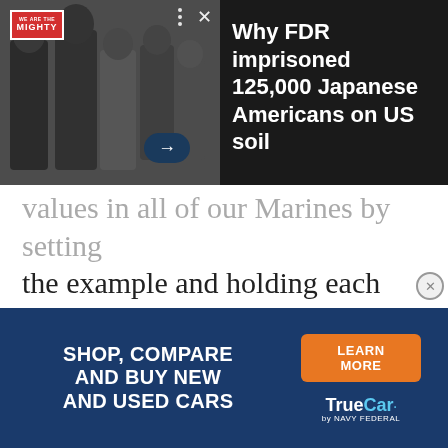[Figure (screenshot): Top overlay advertisement showing black-and-white photo of Japanese-American children with text headline about FDR imprisoning 125,000 Japanese Americans. Includes We Are The Mighty logo, close button (X), three dots menu, and arrow navigation button. White text reads: Why FDR imprisoned 125,000 Japanese Americans on US soil]
values in all of our Marines by setting the example and holding each other accountable.
[Figure (photo): Black-and-white photograph showing barbed wire with soldiers or people visible below, likely military or wartime imagery]
[Figure (screenshot): Bottom advertisement banner for TrueCar by Navy Federal. Navy blue background with white bold text: SHOP, COMPARE AND BUY NEW AND USED CARS. Orange button: LEARN MORE. TrueCar by Navy Federal logo in white and light blue.]